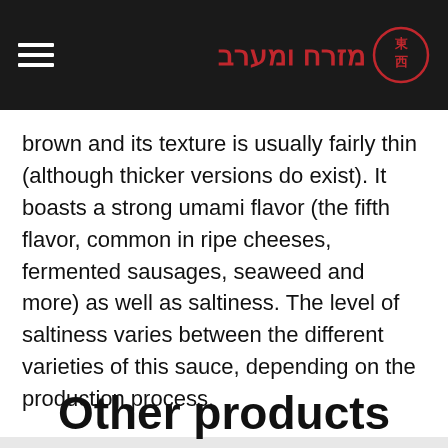מזרח ומערב [logo with Chinese characters]
brown and its texture is usually fairly thin (although thicker versions do exist). It boasts a strong umami flavor (the fifth flavor, common in ripe cheeses, fermented sausages, seaweed and more) as well as saltiness. The level of saltiness varies between the different varieties of this sauce, depending on the production process.
Other products